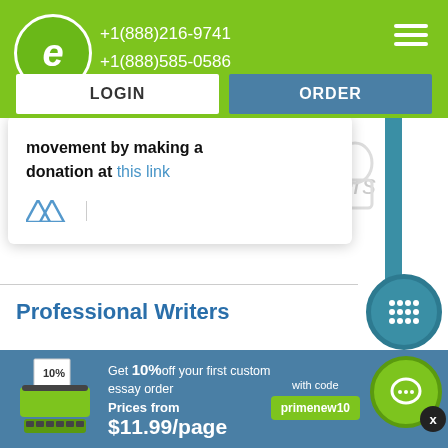+1(888)216-9741 +1(888)585-0586
movement by making a donation at this link
Professional Writers
Get 10% off your first custom essay order with code primenew10 Prices from $11.99/page